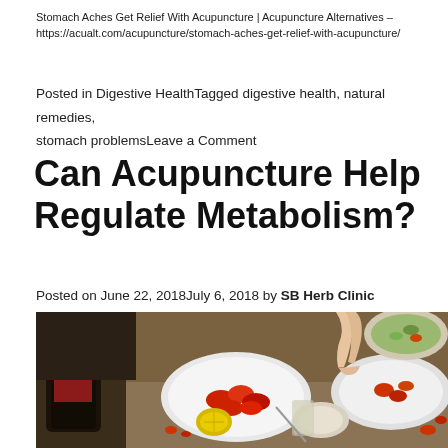Stomach Aches Get Relief With Acupuncture | Acupuncture Alternatives – https://acualt.com/acupuncture/stomach-aches-get-relief-with-acupuncture/
Posted in Digestive HealthTagged digestive health, natural remedies, stomach problemsLeave a Comment
Can Acupuncture Help Regulate Metabolism?
Posted on June 22, 2018July 6, 2018 by SB Herb Clinic
[Figure (photo): Overhead view of a dining table covered with various dishes including bowls of red tomatoes, salads, and other food items, with a person's hand reaching toward the food. A dark glass jar is visible in the foreground.]